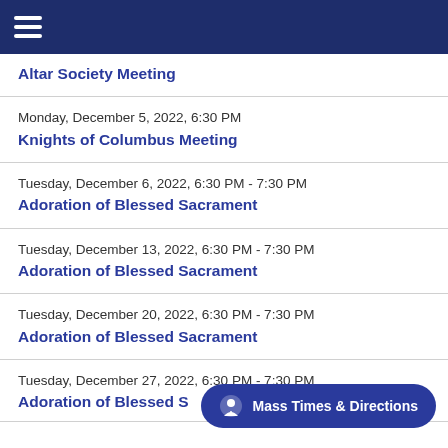Altar Society Meeting
Monday, December 5, 2022, 6:30 PM
Knights of Columbus Meeting
Tuesday, December 6, 2022, 6:30 PM - 7:30 PM
Adoration of Blessed Sacrament
Tuesday, December 13, 2022, 6:30 PM - 7:30 PM
Adoration of Blessed Sacrament
Tuesday, December 20, 2022, 6:30 PM - 7:30 PM
Adoration of Blessed Sacrament
Tuesday, December 27, 2022, 6:30 PM - 7:30 PM
Adoration of Blessed S...
Mass Times & Directions